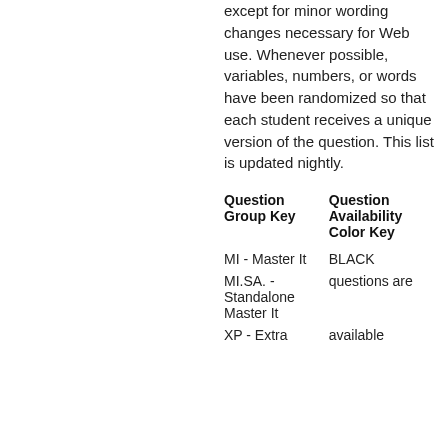except for minor wording changes necessary for Web use. Whenever possible, variables, numbers, or words have been randomized so that each student receives a unique version of the question. This list is updated nightly.
| Question Group Key | Question Availability Color Key |
| --- | --- |
| MI - Master It | BLACK |
| MI.SA. - Standalone Master It | questions are |
| XP - Extra | available |